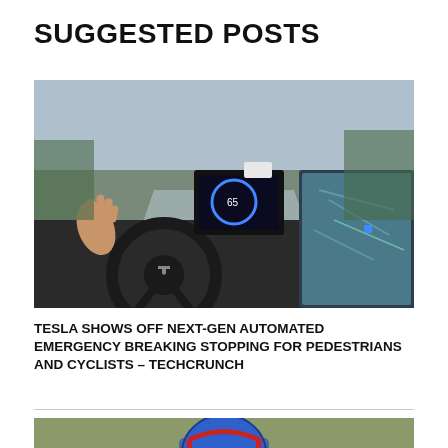SUGGESTED POSTS
[Figure (photo): Interior of a Tesla vehicle with hands raised off the steering wheel, autopilot in use on a highway. Large touchscreen showing map visible on the right.]
TESLA SHOWS OFF NEXT-GEN AUTOMATED EMERGENCY BREAKING STOPPING FOR PEDESTRIANS AND CYCLISTS – TECHCRUNCH
[Figure (photo): A football player wearing a blue and red NY Giants helmet, partially visible at bottom of page.]